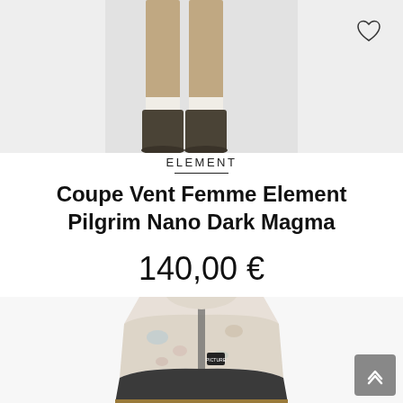[Figure (photo): Lower half of a woman model wearing dark olive/khaki boots and socks, cropped at the thighs, shown against a light grey background]
ELEMENT
Coupe Vent Femme Element Pilgrim Nano Dark Magma
140,00 €
[Figure (photo): A ski/snowboard jacket with a floral/nature print pattern on the upper half (light background with blue, pink, brown tree branch print), dark charcoal/black lower front panel, and a tan/amber bottom section. The jacket has a hood and a brand patch on the chest.]